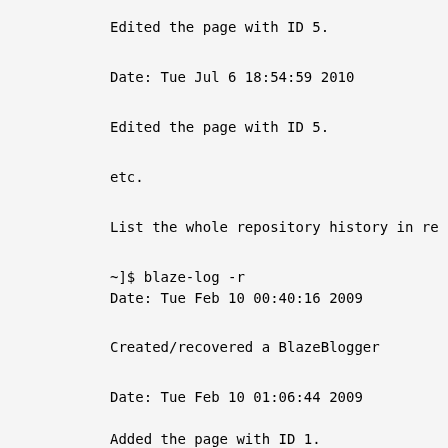Edited the page with ID 5.
Date: Tue Jul  6 18:54:59 2010
Edited the page with ID 5.
etc.
List the whole repository history in re
~]$ blaze-log -r
Date: Tue Feb 10 00:40:16 2009
Created/recovered a BlazeBlogger
Date: Tue Feb 10 01:06:44 2009
Added the page with ID 1.